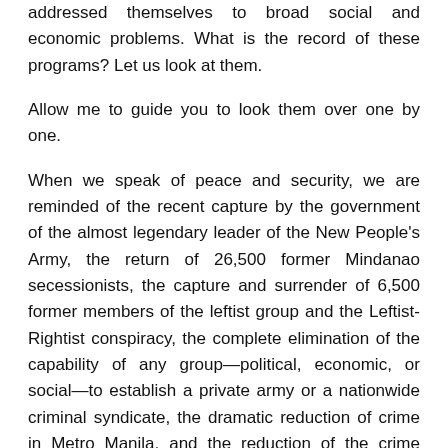addressed themselves to broad social and economic problems. What is the record of these programs? Let us look at them.
Allow me to guide you to look them over one by one.
When we speak of peace and security, we are reminded of the recent capture by the government of the almost legendary leader of the New People's Army, the return of 26,500 former Mindanao secessionists, the capture and surrender of 6,500 former members of the leftist group and the Leftist-Rightist conspiracy, the complete elimination of the capability of any group—political, economic, or social—to establish a private army or a nationwide criminal syndicate, the dramatic reduction of crime in Metro Manila, and the reduction of the crime density of 139 per 100,000 population in 1972 down to the level of 51.5 per 100,000